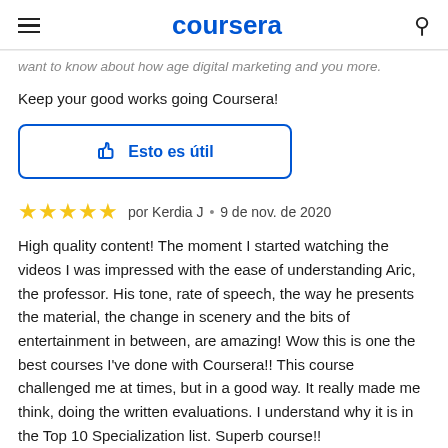coursera
want to know about how age digital marketing and you more.
Keep your good works going Coursera!
[Figure (other): Esto es útil (This is useful) button with thumbs up icon, blue border rounded rectangle button]
por Kerdia J • 9 de nov. de 2020
High quality content! The moment I started watching the videos I was impressed with the ease of understanding Aric, the professor. His tone, rate of speech, the way he presents the material, the change in scenery and the bits of entertainment in between, are amazing! Wow this is one the best courses I've done with Coursera!! This course challenged me at times, but in a good way. It really made me think, doing the written evaluations. I understand why it is in the Top 10 Specialization list. Superb course!!